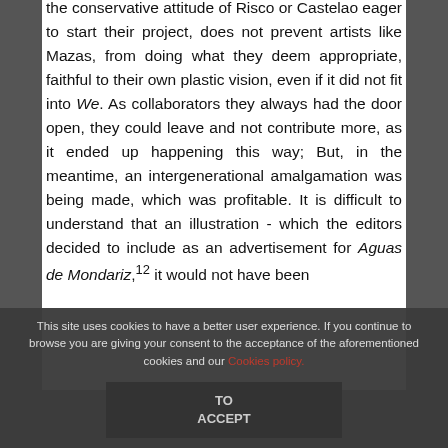the conservative attitude of Risco or Castelao eager to start their project, does not prevent artists like Mazas, from doing what they deem appropriate, faithful to their own plastic vision, even if it did not fit into We. As collaborators they always had the door open, they could leave and not contribute more, as it ended up happening this way; But, in the meantime, an intergenerational amalgamation was being made, which was profitable. It is difficult to understand that an illustration - which the editors decided to include as an advertisement for Aguas de Mondariz,12 it would not have been
This site uses cookies to have a better user experience. If you continue to browse you are giving your consent to the acceptance of the aforementioned cookies and our Cookies policy.
TO ACCEPT